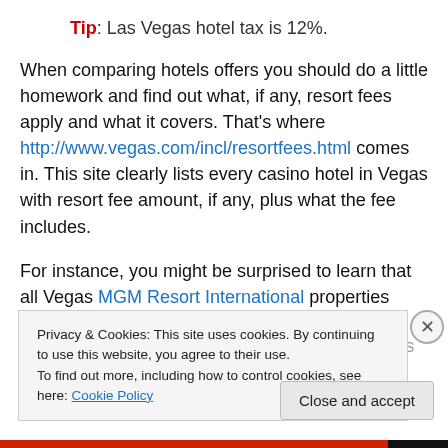Tip: Las Vegas hotel tax is 12%.
When comparing hotels offers you should do a little homework and find out what, if any, resort fees apply and what it covers. That's where http://www.vegas.com/incl/resortfees.html comes in. This site clearly lists every casino hotel in Vegas with resort fee amount, if any, plus what the fee includes.
For instance, you might be surprised to learn that all Vegas MGM Resort International properties have the mandatory resort fee (as of this writing, fee varies by
Privacy & Cookies: This site uses cookies. By continuing to use this website, you agree to their use. To find out more, including how to control cookies, see here: Cookie Policy
Close and accept